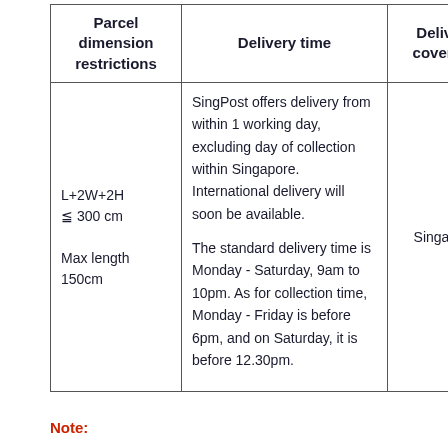| Parcel dimension restrictions | Delivery time | Delivery coverage |
| --- | --- | --- |
| L+2W+2H ≦ 300 cm

Max length 150cm | SingPost offers delivery from within 1 working day, excluding day of collection within Singapore. International delivery will soon be available.

The standard delivery time is Monday - Saturday, 9am to 10pm. As for collection time, Monday - Friday is before 6pm, and on Saturday, it is before 12.30pm. | Singapore |
Note: